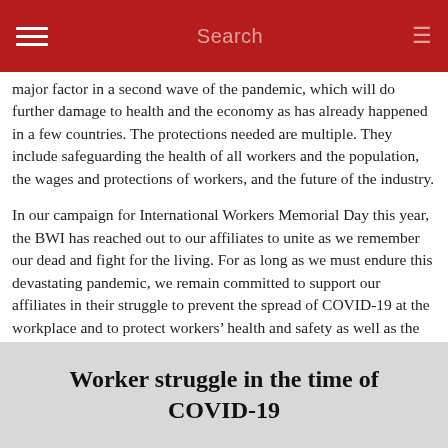Search
major factor in a second wave of the pandemic, which will do further damage to health and the economy as has already happened in a few countries. The protections needed are multiple. They include safeguarding the health of all workers and the population, the wages and protections of workers, and the future of the industry.
In our campaign for International Workers Memorial Day this year, the BWI has reached out to our affiliates to unite as we remember our dead and fight for the living. For as long as we must endure this devastating pandemic, we remain committed to support our affiliates in their struggle to prevent the spread of COVID-19 at the workplace and to protect workers' health and safety as well as the livelihoods and the wellbeing of workers and their communities.
Worker struggle in the time of COVID-19